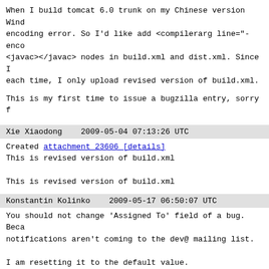When I build tomcat 6.0 trunk on my Chinese version Wind encoding error. So I'd like add <compilerarg line="-enco <javac></javac> nodes in build.xml and dist.xml. Since I each time, I only upload revised version of build.xml.
This is my first time to issue a bugzilla entry, sorry f
Xie Xiaodong    2009-05-04 07:13:26 UTC
Created attachment 23606 [details]
This is revised version of build.xml

This is revised version of build.xml
Konstantin Kolinko    2009-05-17 06:50:07 UTC
You should not change 'Assigned To' field of a bug. Beca notifications aren't coming to the dev@ mailing list.

I am resetting it to the default value.
Mark Thomas    2009-05-25 04:03:42 UTC
Fixed in trunk and proposed for 6.0.x
Mark Thomas    2009-06-05 14:13:49 UTC